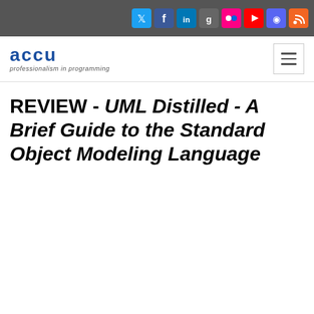[Figure (other): Social media icon bar with Twitter, Facebook, LinkedIn, Google+, Flickr, YouTube, Discord, RSS icons on dark grey background]
[Figure (logo): ACCU logo - blue bold lowercase text 'accu' with tagline 'professionalism in programming' in italic, and hamburger menu icon on right]
REVIEW - UML Distilled - A Brief Guide to the Standard Object Modeling Language
[Figure (photo): Book cover image placeholder (white rectangle with border)]